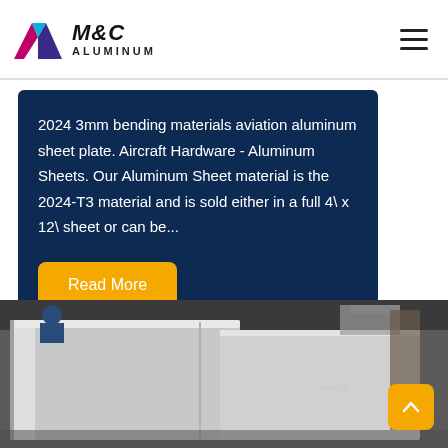M&C ALUMINUM
2024 3mm bending materials aviation aluminum sheet plate. Aircraft Hardware - Aluminum Sheets. Our Aluminum Sheet material is the 2024-T3 material and is sold either in a full 4\ x 12\ sheet or can be...
[Figure (photo): Aluminum sheets stacked in a warehouse/industrial setting, showing large flat aluminum panels with protective film]
[Figure (logo): M&C Aluminum logo with triangular mountain-like icon in blue, cyan, and magenta/purple colors]